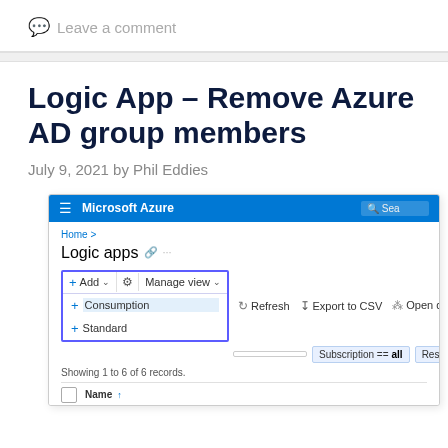Leave a comment
Logic App – Remove Azure AD group members
July 9, 2021 by Phil Eddies
[Figure (screenshot): Microsoft Azure portal screenshot showing the Logic apps page with the Add dropdown menu open, revealing Consumption and Standard options. Toolbar shows Manage view, Refresh, Export to CSV, and Open options. Filters show Subscription == all and Resource group == all. Showing 1 to 6 of 6 records. Name column header visible.]